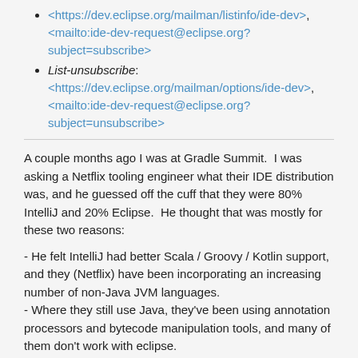<https://dev.eclipse.org/mailman/listinfo/ide-dev>, <mailto:ide-dev-request@eclipse.org?subject=subscribe>
List-unsubscribe: <https://dev.eclipse.org/mailman/options/ide-dev>, <mailto:ide-dev-request@eclipse.org?subject=unsubscribe>
A couple months ago I was at Gradle Summit.  I was asking a Netflix tooling engineer what their IDE distribution was, and he guessed off the cuff that they were 80% IntelliJ and 20% Eclipse.  He thought that was mostly for these two reasons:
- He felt IntelliJ had better Scala / Groovy / Kotlin support, and they (Netflix) have been incorporating an increasing number of non-Java JVM languages.
- Where they still use Java, they've been using annotation processors and bytecode manipulation tools, and many of them don't work with eclipse.
His overall impression was that it came down to ecj vs javac.  ecj is undoubtedly faster, but as the JVM ecosystem